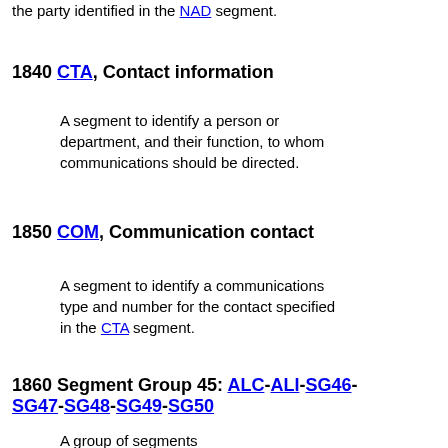the party identified in the NAD segment.
1840 CTA, Contact information
A segment to identify a person or department, and their function, to whom communications should be directed.
1850 COM, Communication contact
A segment to identify a communications type and number for the contact specified in the CTA segment.
1860 Segment Group 45: ALC-ALI-SG46-SG47-SG48-SG49-SG50
A group of segments